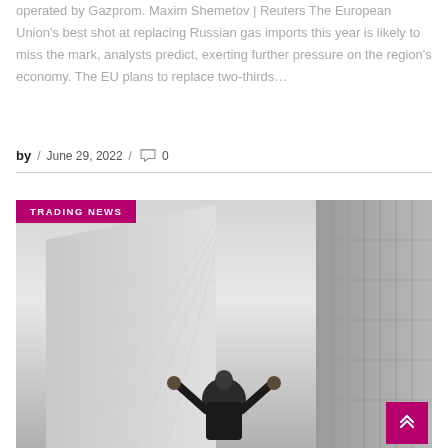operated by Gazprom. Maxim Shemetov | Reuters The European Union's best shot at replacing Russian gas imports this year is likely to miss the mark, analysts predict, exerting further pressure on the region's economy. The EU plans to replace two-thirds...
by / June 29, 2022 / 0
[Figure (photo): A person in a dark suit with arms raised looking up at tall glass buildings from below, with a pink 'TRADING NEWS' badge overlaid in the top left corner. A pink scroll-to-top button is in the bottom right.]